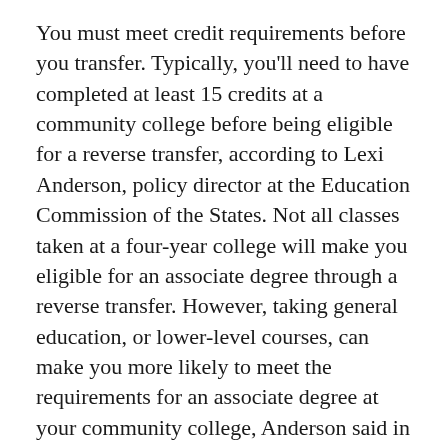You must meet credit requirements before you transfer. Typically, you'll need to have completed at least 15 credits at a community college before being eligible for a reverse transfer, according to Lexi Anderson, policy director at the Education Commission of the States. Not all classes taken at a four-year college will make you eligible for an associate degree through a reverse transfer. However, taking general education, or lower-level courses, can make you more likely to meet the requirements for an associate degree at your community college, Anderson said in an email.
Meet with your counselor to see if you're eligible for a reverse transfer. If you're qualified, you'll typically need to fill out a reverse transfer request form and then your college will send your information to your